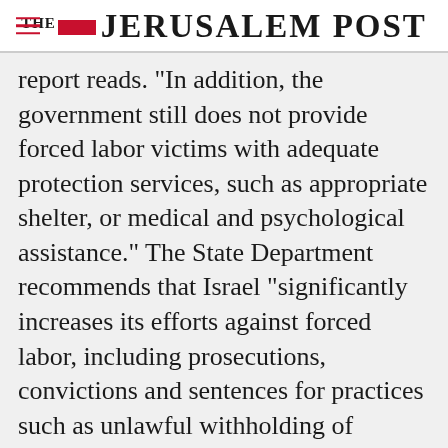THE JERUSALEM POST
report reads. "In addition, the government still does not provide forced labor victims with adequate protection services, such as appropriate shelter, or medical and psychological assistance." The State Department recommends that Israel "significantly increases its efforts against forced labor, including prosecutions, convictions and sentences for practices such as unlawful withholding of passports and charging fraudulent recruitment fees; significantly increase
Advertisement